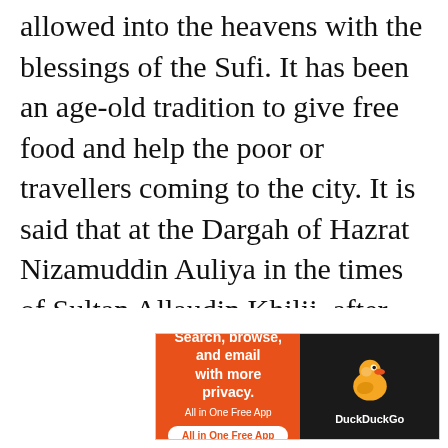allowed into the heavens with the blessings of the Sufi. It has been an age-old tradition to give free food and help the poor or travellers coming to the city. It is said that at the Dargah of Hazrat Nizamuddin Auliya in the times of Sultan Allaudin Khilji, after every 3rd day all money, food and belongings were distributed. Langar which ran all through the year was food cooked in large quantities for the purpose of
Advertisements
[Figure (other): DuckDuckGo advertisement banner: orange left panel with text 'Search, browse, and email with more privacy. All in One Free App' and dark right panel with DuckDuckGo duck logo and 'DuckDuckGo' text]